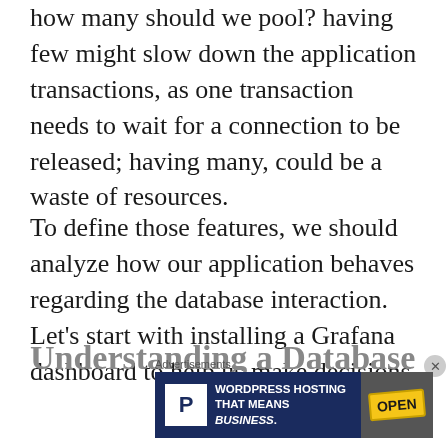how many should we pool? having few might slow down the application transactions, as one transaction needs to wait for a connection to be released; having many, could be a waste of resources.
To define those features, we should analyze how our application behaves regarding the database interaction. Let's start with installing a Grafana dashboard to help us make decisions.
Understanding a Database
Advertisements
[Figure (other): Advertisement banner for WordPress Hosting with a blue background, a white 'P' logo on the left, the text 'WORDPRESS HOSTING THAT MEANS BUSINESS.' in white bold uppercase, and an 'OPEN' sign image on the right.]